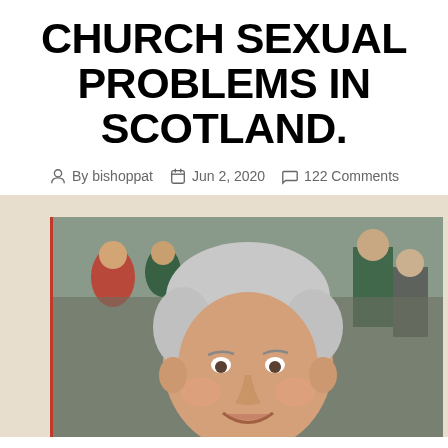CHURCH SEXUAL PROBLEMS IN SCOTLAND.
By bishoppat   Jun 2, 2020   122 Comments
[Figure (photo): Close-up photo of a middle-aged man with grey/white hair, smiling, with a crowd of people visible in the background outdoors.]